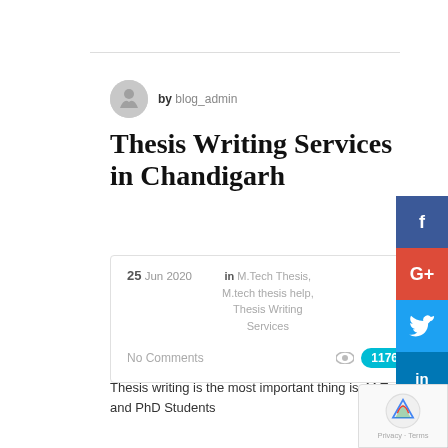by blog_admin
Thesis Writing Services in Chandigarh
25 Jun 2020  in M.Tech Thesis, M.tech thesis help, Thesis Writing Services  No Comments  1176
Thesis writing is the most important thing is M.Tech and PhD Students